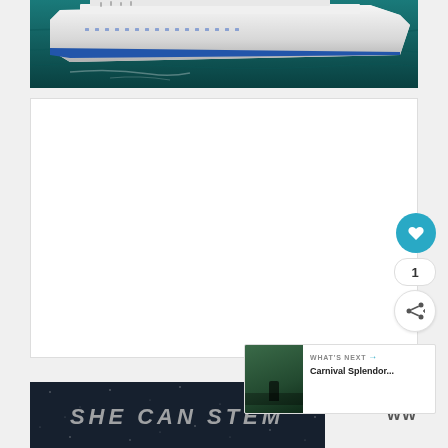[Figure (photo): Aerial view of a large cruise ship sailing on dark teal ocean water. The white ship hull is visible from above.]
[Figure (screenshot): White card area showing a video or article embed, with a teal heart/like button showing count of 1, and a share button below.]
[Figure (screenshot): What's Next card with thumbnail image of a person in a landscape, labeled 'WHAT'S NEXT' with arrow, and title 'Carnival Splendor...']
[Figure (photo): Dark banner image with text 'SHE CAN STEM' in large bold italic letters on a dark starry background.]
[Figure (logo): Small logo showing 'WW' with superscript '0' in grey text]